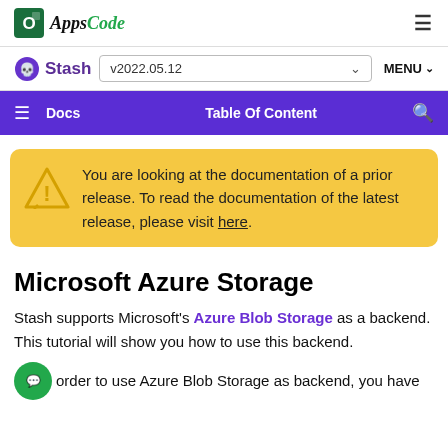AppsCode
Stash v2022.05.12 MENU
Docs  Table Of Content
You are looking at the documentation of a prior release. To read the documentation of the latest release, please visit here.
Microsoft Azure Storage
Stash supports Microsoft's Azure Blob Storage as a backend. This tutorial will show you how to use this backend.
order to use Azure Blob Storage as backend, you have